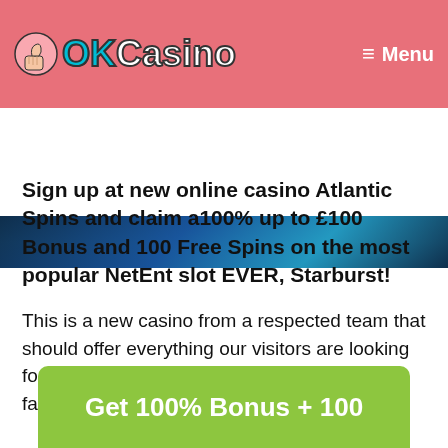OKCasino — Menu
[Figure (screenshot): Partial image banner below the header, dark blue background with casino imagery]
Sign up at new online casino Atlantic Spins and claim a100% up to £100 Bonus and 100 Free Spins on the most popular NetEnt slot EVER, Starburst!
This is a new casino from a respected team that should offer everything our visitors are looking for...let's take a closer look and see how they fair against the online casino competition!
Get 100% Bonus + 100